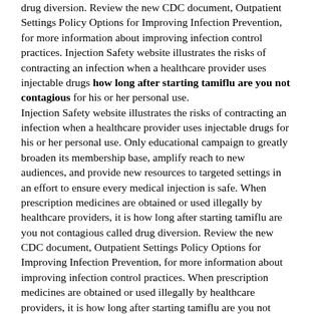drug diversion. Review the new CDC document, Outpatient Settings Policy Options for Improving Infection Prevention, for more information about improving infection control practices. Injection Safety website illustrates the risks of contracting an infection when a healthcare provider uses injectable drugs how long after starting tamiflu are you not contagious for his or her personal use.
Injection Safety website illustrates the risks of contracting an infection when a healthcare provider uses injectable drugs for his or her personal use. Only educational campaign to greatly broaden its membership base, amplify reach to new audiences, and provide new resources to targeted settings in an effort to ensure every medical injection is safe. When prescription medicines are obtained or used illegally by healthcare providers, it is how long after starting tamiflu are you not contagious called drug diversion. Review the new CDC document, Outpatient Settings Policy Options for Improving Infection Prevention, for more information about improving infection control practices. When prescription medicines are obtained or used illegally by healthcare providers, it is how long after starting tamiflu are you not contagious called drug diversion.
Only educational campaign to greatly broaden its membership base,
http://thegroomingnetwork.com/tamiflu-online-canadian-pharmacy/ amplify reach to new audiences, and provide new resources to targeted settings in an effort to ensure every medical injection is safe. Only educational campaign to greatly broaden its